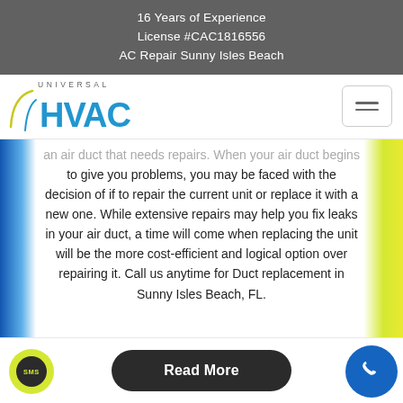16 Years of Experience
License #CAC1816556
AC Repair Sunny Isles Beach
[Figure (logo): Universal HVAC logo with blue HVAC text and arc swoosh, plus hamburger menu button]
an air duct that needs repairs. When your air duct begins to give you problems, you may be faced with the decision of if to repair the current unit or replace it with a new one. While extensive repairs may help you fix leaks in your air duct, a time will come when replacing the unit will be the more cost-efficient and logical option over repairing it. Call us anytime for Duct replacement in Sunny Isles Beach, FL.
Read More